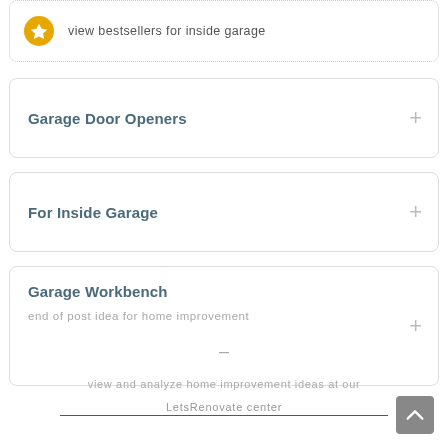view bestsellers for inside garage
Garage Door Openers
For Inside Garage
Garage Workbench
end of post idea for home improvement
view and analyze home improvement ideas at our
LetsRenovate center